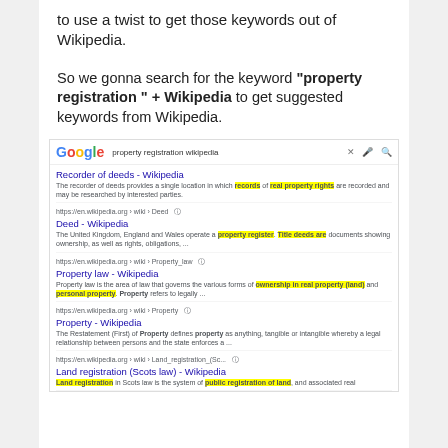to use a twist to get those keywords out of Wikipedia.
So we gonna search for the keyword "property registration " + Wikipedia to get suggested keywords from Wikipedia.
[Figure (screenshot): Google search results screenshot for 'property registration wikipedia' showing results: Recorder of deeds - Wikipedia, Deed - Wikipedia, Property law - Wikipedia, Property - Wikipedia, Land registration (Scots law) - Wikipedia. Several keywords are highlighted in yellow.]